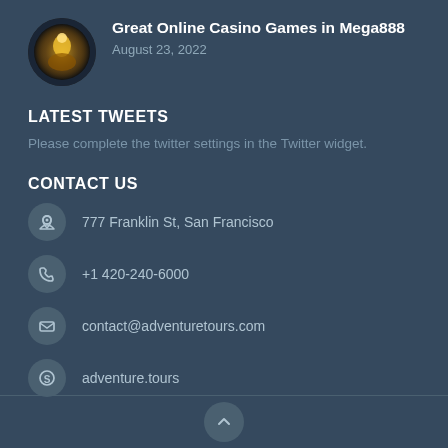[Figure (photo): Circular avatar image showing a glowing golden figure against dark background]
Great Online Casino Games in Mega888
August 23, 2022
LATEST TWEETS
Please complete the twitter settings in the Twitter widget.
CONTACT US
777 Franklin St, San Francisco
+1 420-240-6000
contact@adventuretours.com
adventure.tours